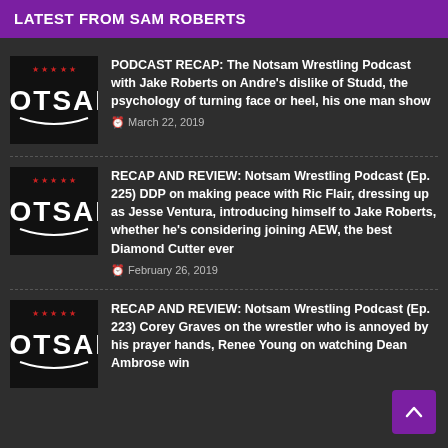LATEST FROM SAM ROBERTS
[Figure (logo): Notsam Wrestling Podcast logo - white block letters on black background with red stars]
PODCAST RECAP: The Notsam Wrestling Podcast with Jake Roberts on Andre's dislike of Studd, the psychology of turning face or heel, his one man show
March 22, 2019
[Figure (logo): Notsam Wrestling Podcast logo - white block letters on black background with red stars]
RECAP AND REVIEW: Notsam Wrestling Podcast (Ep. 225) DDP on making peace with Ric Flair, dressing up as Jesse Ventura, introducing himself to Jake Roberts, whether he's considering joining AEW, the best Diamond Cutter ever
February 26, 2019
[Figure (logo): Notsam Wrestling Podcast logo - white block letters on black background with red stars]
RECAP AND REVIEW: Notsam Wrestling Podcast (Ep. 223) Corey Graves on the wrestler who is annoyed by his prayer hands, Renee Young on watching Dean Ambrose win